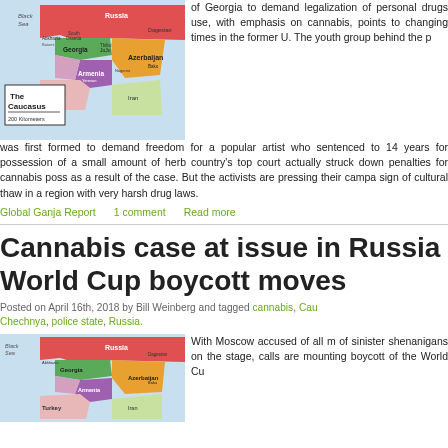[Figure (map): Map of the Caucasus region showing Georgia, Armenia, Azerbaijan, Turkey, Russia, Black Sea, and surrounding areas with colored regions. Label reads 'The Caucasus, 200 Kilometers'.]
of Georgia to demand legalization of personal drugs use, with emphasis on cannabis, points to changing times in the former U The youth group behind the p was first formed to demand freedom for a popular artist who sentenced to 14 years for possession of a small amount of herb country's top court actually struck down penalties for cannabis poss as a result of the case. But the activists are pressing their campa sign of cultural thaw in a region with very harsh drug laws.
Global Ganja Report    1 comment    Read more
Cannabis case at issue in Russia World Cup boycott moves
Posted on April 16th, 2018 by Bill Weinberg and tagged cannabis, Cau Chechnya, police state, Russia.
[Figure (map): Map of the Caucasus region similar to the one above, showing Russia, Georgia, Armenia, Azerbaijan, Black Sea, and surrounding areas with colored regions.]
With Moscow accused of all m of sinister shenanigans on the stage, calls are mounting boycott of the World Cu